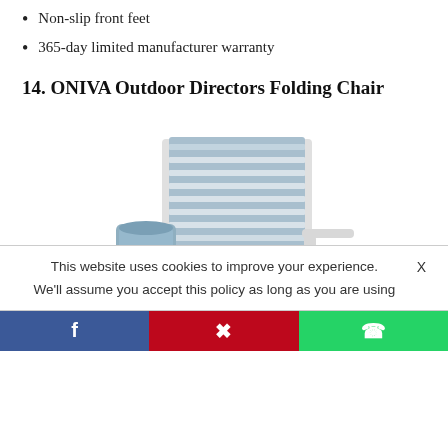Non-slip front feet
365-day limited manufacturer warranty
14. ONIVA Outdoor Directors Folding Chair
[Figure (photo): Photo of the ONIVA Outdoor Directors Folding Chair, a blue and white striped folding chair with white metal frame, armrests, side storage bag with cup holder, and a small fold-out side table.]
This website uses cookies to improve your experience.   X
We'll assume you accept this policy as long as you are using